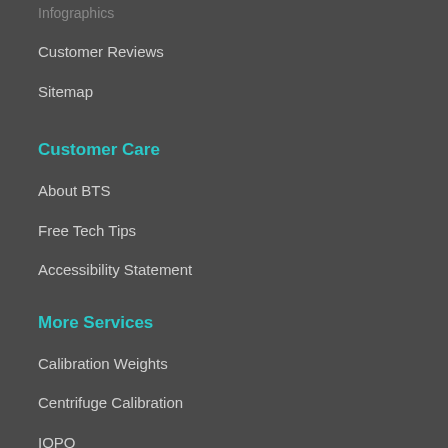Infographics
Customer Reviews
Sitemap
Customer Care
About BTS
Free Tech Tips
Accessibility Statement
More Services
Calibration Weights
Centrifuge Calibration
IOPQ
Torque Wrench Calibration
Thermometer Calibration